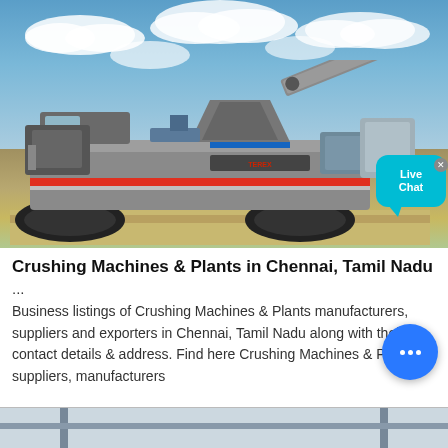[Figure (photo): A large mobile crushing machine/plant on tracks photographed outdoors against a blue sky with clouds. The machine is grey and orange/red colored with conveyor belts and processing equipment. A 'Live Chat' bubble is visible in the top right corner of the image.]
Crushing Machines & Plants in Chennai, Tamil Nadu ...
Business listings of Crushing Machines & Plants manufacturers, suppliers and exporters in Chennai, Tamil Nadu along with their contact details & address. Find here Crushing Machines & Plants, suppliers, manufacturers